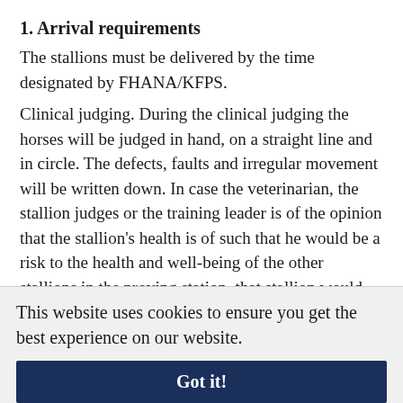1. Arrival requirements
The stallions must be delivered by the time designated by FHANA/KFPS.
Clinical judging. During the clinical judging the horses will be judged in hand, on a straight line and in circle. The defects, faults and irregular movement will be written down. In case the veterinarian, the stallion judges or the training leader is of the opinion that the stallion's health is of such that he would be a risk to the health and well-being of the other stallions in the proving station, that stallion would not be accepted for the remainder of the testing and will not be allowed to enter the proving station. Stallions will be examined by a veterinarian upon
This website uses cookies to ensure you get the best experience on our website.
Got it!